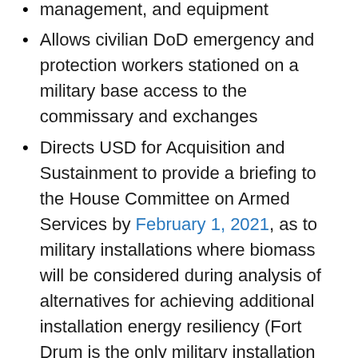management, and equipment
Allows civilian DoD emergency and protection workers stationed on a military base access to the commissary and exchanges
Directs USD for Acquisition and Sustainment to provide a briefing to the House Committee on Armed Services by February 1, 2021, as to military installations where biomass will be considered during analysis of alternatives for achieving additional installation energy resiliency (Fort Drum is the only military installation that is 100% energy-resilient with the long term biomass Re-Energy contract)